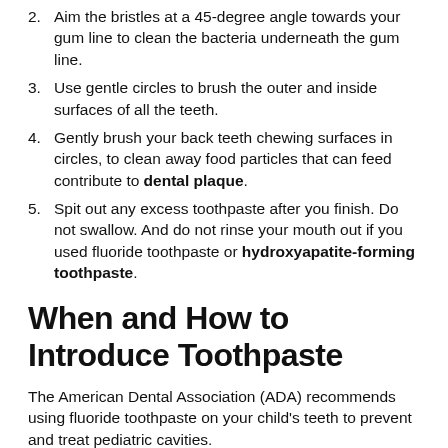2. Aim the bristles at a 45-degree angle towards your gum line to clean the bacteria underneath the gum line.
3. Use gentle circles to brush the outer and inside surfaces of all the teeth.
4. Gently brush your back teeth chewing surfaces in circles, to clean away food particles that can feed contribute to dental plaque.
5. Spit out any excess toothpaste after you finish. Do not swallow. And do not rinse your mouth out if you used fluoride toothpaste or hydroxyapatite-forming toothpaste.
When and How to Introduce Toothpaste
The American Dental Association (ADA) recommends using fluoride toothpaste on your child's teeth to prevent and treat pediatric cavities.
Until 2014, the American Academy of Pediatrics (AAP)